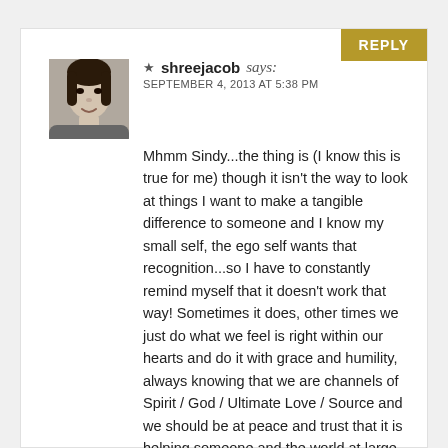shreejacob says:
SEPTEMBER 4, 2013 AT 5:38 PM
Mhmm Sindy...the thing is (I know this is true for me) though it isn't the way to look at things I want to make a tangible difference to someone and I know my small self, the ego self wants that recognition...so I have to constantly remind myself that it doesn't work that way! Sometimes it does, other times we just do what we feel is right within our hearts and do it with grace and humility, always knowing that we are channels of Spirit / God / Ultimate Love / Source and we should be at peace and trust that it is helping someone and the world at large.

Though there was a time a short while ago, when I had a few patients come back to me with news that made me feel glad that I went